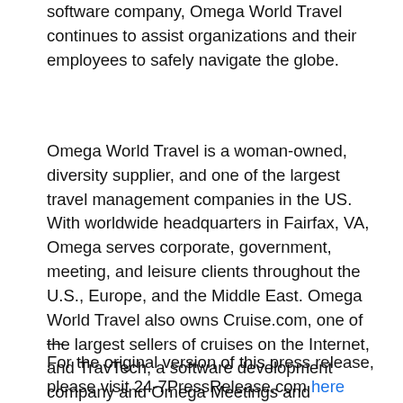software company, Omega World Travel continues to assist organizations and their employees to safely navigate the globe.
Omega World Travel is a woman-owned, diversity supplier, and one of the largest travel management companies in the US. With worldwide headquarters in Fairfax, VA, Omega serves corporate, government, meeting, and leisure clients throughout the U.S., Europe, and the Middle East. Omega World Travel also owns Cruise.com, one of the largest sellers of cruises on the Internet, and TravTech, a software development company and Omega Meetings and Conference services.
—
For the original version of this press release, please visit 24-7PressRelease.com here